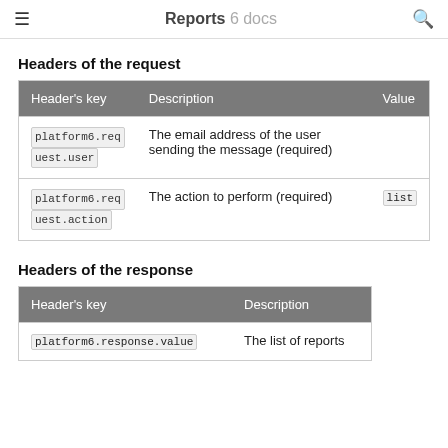Reports  6 docs
Headers of the request
| Header's key | Description | Value |
| --- | --- | --- |
| platform6.request.user | The email address of the user sending the message (required) |  |
| platform6.request.action | The action to perform (required) | list |
Headers of the response
| Header's key | Description |
| --- | --- |
| platform6.response.value | The list of reports |